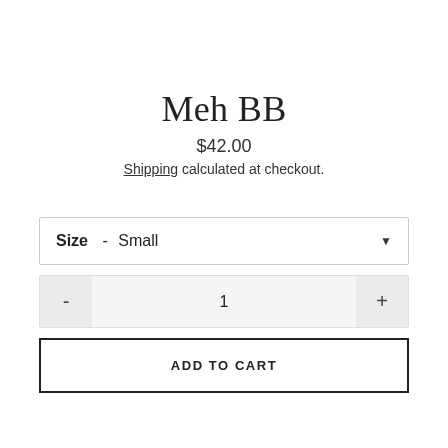Meh BB
$42.00
Shipping calculated at checkout.
Size - Small
1
ADD TO CART